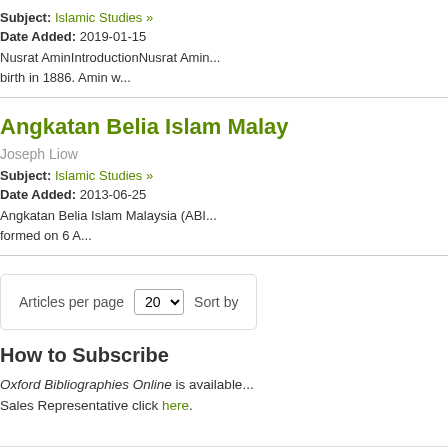Subject: Islamic Studies »
Date Added: 2019-01-15
Nusrat AminIntroductionNusrat Amin birth in 1886. Amin w...
Angkatan Belia Islam Malay
Joseph Liow
Subject: Islamic Studies »
Date Added: 2013-06-25
Angkatan Belia Islam Malaysia (ABI formed on 6 A...
Articles per page 20 Sort by
How to Subscribe
Oxford Bibliographies Online is available. Sales Representative click here.